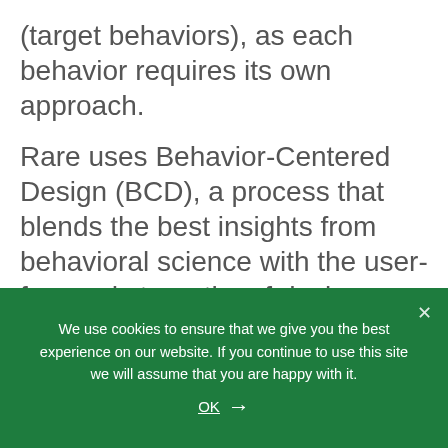(target behaviors), as each behavior requires its own approach.
Rare uses Behavior-Centered Design (BCD), a process that blends the best insights from behavioral science with the user-focused strengths of design thinking, to identify the most effective behavior change intervention for a given target audience. To this end, we employ a combination of six categories of strategies: emotional appeals (using emotional messages in addition to or instead of reason), social influences (the behavior, beliefs, and
We use cookies to ensure that we give you the best experience on our website. If you continue to use this site we will assume that you are happy with it.
OK →